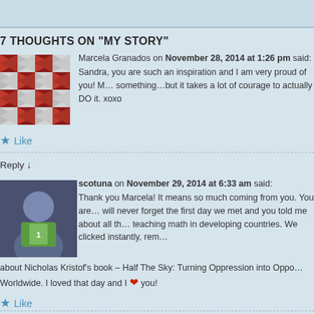7 THOUGHTS ON “MY STORY”
Marcela Granados on November 28, 2014 at 1:26 pm said: Sandra, you are such an inspiration and I am very proud of you! Many people dream about doing something…but it takes a lot of courage to actually DO it. xoxo
Like
Reply ↓
scotuna on November 29, 2014 at 6:33 am said: Thank you Marcela! It means so much coming from you. You are an amazing person and I will never forget the first day we met and you told me about all the incredible work you do teaching math in developing countries. We clicked instantly, remember we were both talking about Nicholas Kristof’s book – Half The Sky: Turning Oppression into Opportunity for Women Worldwide. I loved that day and I ❤ you!
Like